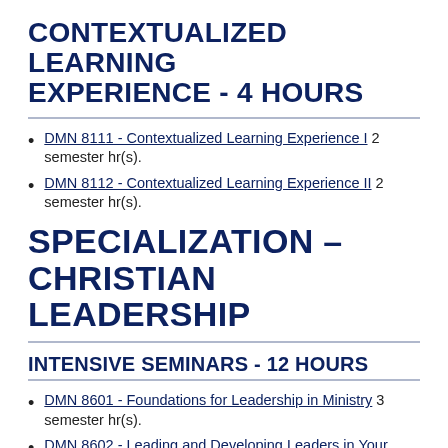CONTEXTUALIZED LEARNING EXPERIENCE - 4 HOURS
DMN 8111 - Contextualized Learning Experience I 2 semester hr(s).
DMN 8112 - Contextualized Learning Experience II 2 semester hr(s).
SPECIALIZATION - CHRISTIAN LEADERSHIP
INTENSIVE SEMINARS - 12 HOURS
DMN 8601 - Foundations for Leadership in Ministry 3 semester hr(s).
DMN 8602 - Leading and Developing Leaders in Your...